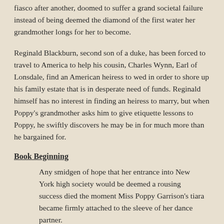fiasco after another, doomed to suffer a grand societal failure instead of being deemed the diamond of the first water her grandmother longs for her to become.
Reginald Blackburn, second son of a duke, has been forced to travel to America to help his cousin, Charles Wynn, Earl of Lonsdale, find an American heiress to wed in order to shore up his family estate that is in desperate need of funds. Reginald himself has no interest in finding an heiress to marry, but when Poppy's grandmother asks him to give etiquette lessons to Poppy, he swiftly discovers he may be in for much more than he bargained for.
Book Beginning
Any smidgen of hope that her entrance into New York high society would be deemed a rousing success died the moment Miss Poppy Garrison's tiara became firmly attached to the sleeve of her dance partner.